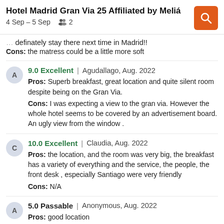Hotel Madrid Gran Via 25 Affiliated by Meliá
4 Sep – 5 Sep  2
definately stay there next time in Madrid!!
Cons: the matress could be a little more soft
9.0 Excellent | Agudallago, Aug. 2022
Pros: Superb breakfast, great location and quite silent room despite being on the Gran Via.
Cons: I was expecting a view to the gran via. However the whole hotel seems to be covered by an advertisement board. An ugly view from the window .
10.0 Excellent | Claudia, Aug. 2022
Pros: the location, and the room was very big, the breakfast has a variety of everything and the service, the people, the front desk , especially Santiago were very friendly
Cons: N/A
5.0 Passable | Anonymous, Aug. 2022
Pros: good location
Cons: very small room, we could barely fit with out suitcases